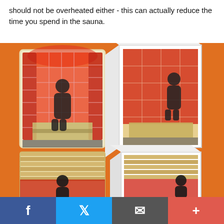should not be overheated either - this can actually reduce the time you spend in the sauna.
[Figure (illustration): Four infrared sauna cabin illustrations on an orange background, showing two full-view saunas (top row) and two partial/cutaway views (bottom row), each with a silhouette of a person inside surrounded by red infrared heating panels.]
Social share bar with Facebook, Twitter, email, and plus buttons